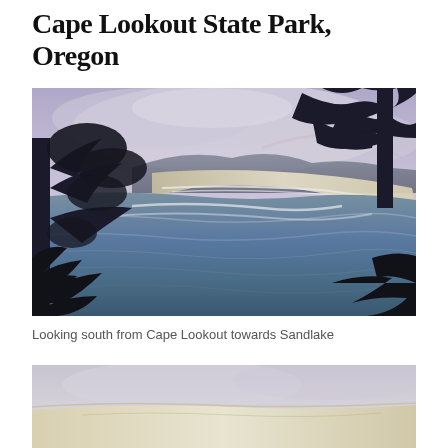Cape Lookout State Park, Oregon
[Figure (photo): Aerial coastal view looking south from Cape Lookout towards Sandlake, Oregon. Trees frame the left and right edges of the photo. The ocean and a sandy beach spit are visible in the middle distance under a cloudy, overcast sky.]
Looking south from Cape Lookout towards Sandlake
[Figure (photo): Partial view of a second coastal photograph at the bottom of the page, showing sandy beach and water under hazy light.]